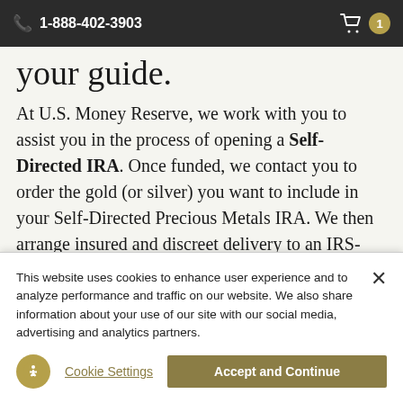1-888-402-3903
your guide.
At U.S. Money Reserve, we work with you to assist you in the process of opening a Self-Directed IRA. Once funded, we contact you to order the gold (or silver) you want to include in your Self-Directed Precious Metals IRA. We then arrange insured and discreet delivery to an IRS-approved depository for safekeeping.
This website uses cookies to enhance user experience and to analyze performance and traffic on our website. We also share information about your use of our site with our social media, advertising and analytics partners.